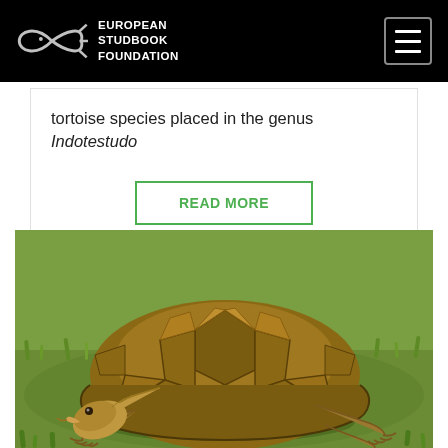EUROPEAN STUDBOOK FOUNDATION
tortoise species placed in the genus Indotestudo
READ MORE
[Figure (photo): A large tortoise on green grass, viewed from the side-front angle, showing its brown-patterned domed shell, head with open mouth, and front legs on grassy ground.]